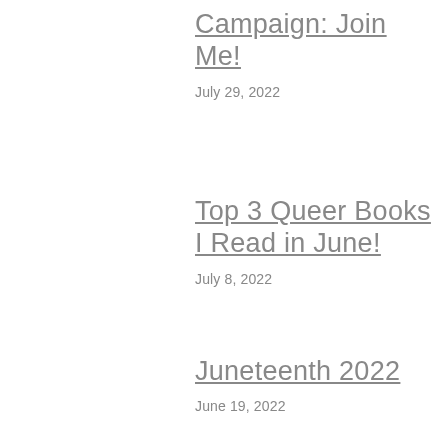Campaign: Join Me!
July 29, 2022
Top 3 Queer Books I Read in June!
July 8, 2022
Juneteenth 2022
June 19, 2022